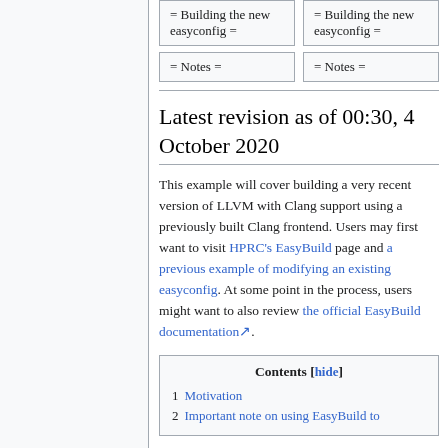| = Building the new easyconfig = | = Building the new easyconfig = |
| = Notes = | = Notes = |
Latest revision as of 00:30, 4 October 2020
This example will cover building a very recent version of LLVM with Clang support using a previously built Clang frontend. Users may first want to visit HPRC's EasyBuild page and a previous example of modifying an existing easyconfig. At some point in the process, users might want to also review the official EasyBuild documentation.
Contents
1 Motivation
2 Important note on using EasyBuild to